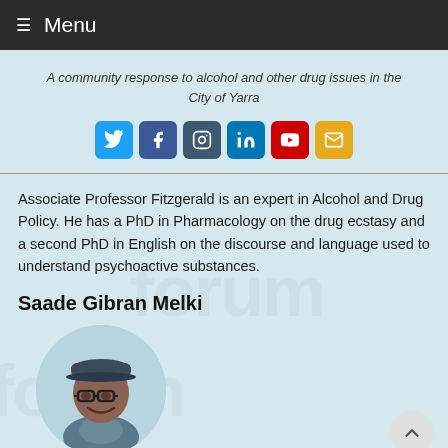≡ Menu
A community response to alcohol and other drug issues in the City of Yarra
[Figure (infographic): Row of six social media icon buttons: Twitter (blue), Facebook (dark blue), Instagram (dark teal), LinkedIn (blue), YouTube (red), Email (yellow)]
Associate Professor Fitzgerald is an expert in Alcohol and Drug Policy. He has a PhD in Pharmacology on the drug ecstasy and a second PhD in English on the discourse and language used to understand psychoactive substances.
Saade Gibran Melki
[Figure (photo): Circular cropped portrait photo of a man wearing glasses and a cap, smiling, with a light blue/white background]